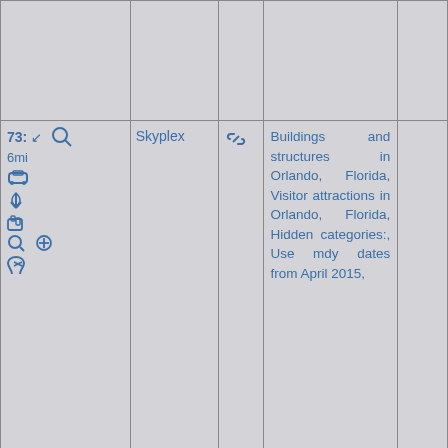| Controls/Icons | Name | Link | Categories | Extra |
| --- | --- | --- | --- | --- |
|  |  |  |  |  |
| 73: 6mi [icons] | Skyplex | [link icon] | Buildings and structures in Orlando, Florida, Visitor attractions in Orlando, Florida, Hidden categories:, Use mdy dates from April 2015, |  |